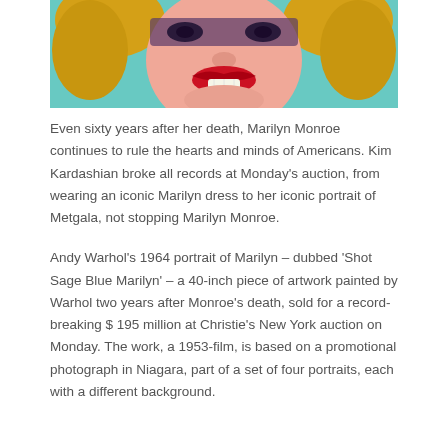[Figure (illustration): Partial image of Andy Warhol's 'Shot Sage Blue Marilyn' portrait — cropped to show face and hair against a teal/sage blue background. The face has pink skin tones with red lips, yellow hair.]
Even sixty years after her death, Marilyn Monroe continues to rule the hearts and minds of Americans. Kim Kardashian broke all records at Monday's auction, from wearing an iconic Marilyn dress to her iconic portrait of Metgala, not stopping Marilyn Monroe.
Andy Warhol's 1964 portrait of Marilyn – dubbed 'Shot Sage Blue Marilyn' – a 40-inch piece of artwork painted by Warhol two years after Monroe's death, sold for a record-breaking $ 195 million at Christie's New York auction on Monday. The work, a 1953-film, is based on a promotional photograph in Niagara, part of a set of four portraits, each with a different background.